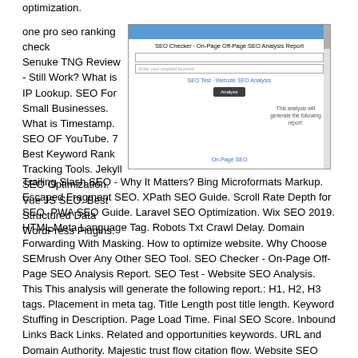optimization.
one pro seo ranking check
Senuke TNG Review - Still Work? What is IP Lookup. SEO For Small Businesses. What is Timestamp. SEO OF YouTube. 7 Best Keyword Rank Tracking Tools. Jekyll SEO Optimization. Vue JS SEO. Best Structured Data WordPress Plugins.
[Figure (screenshot): Screenshot of SEO Checker - On-Page Off-Page SEO Analysis Report tool interface showing input fields, Analyze button, and a note that the analysis will generate a report including On-Page SEO]
Trailing Slash SEO - Why It Matters? Bing Microformats Markup. Escaped Fragment SEO. XPath SEO Guide. Scroll Rate Depth for SEO. PWA SEO Guide. Laravel SEO Optimization. Wix SEO 2019. HTML Meta Language Tag. Robots Txt Crawl Delay. Domain Forwarding With Masking. How to optimize website. Why Choose SEMrush Over Any Other SEO Tool. SEO Checker - On-Page Off-Page SEO Analysis Report. SEO Test - Website SEO Analysis. This This analysis will generate the following report.: H1, H2, H3 tags. Placement in meta tag. Title Length post title length. Keyword Stuffing in Description. Page Load Time. Final SEO Score. Inbound Links Back Links. Related and opportunities keywords. URL and Domain Authority. Majestic trust flow citation flow. Website SEO Analysis To An Excellent Search Engine Optimization. Optimizing your website using SEO optimization tool from website SEO Checker to rank high than others in search Engines such as Google, Bing and Yahoo takes a lot of time.